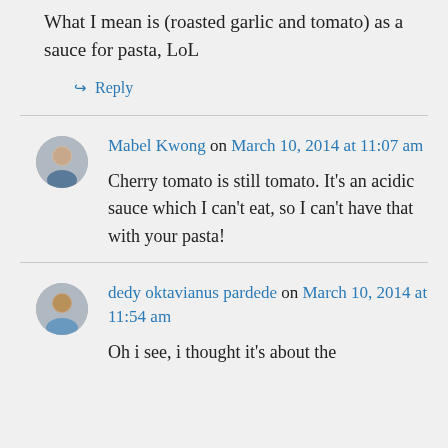What I mean is (roasted garlic and tomato) as a sauce for pasta, LoL
↪ Reply
Mabel Kwong on March 10, 2014 at 11:07 am
Cherry tomato is still tomato. It's an acidic sauce which I can't eat, so I can't have that with your pasta!
dedy oktavianus pardede on March 10, 2014 at 11:54 am
Oh i see, i thought it's about the